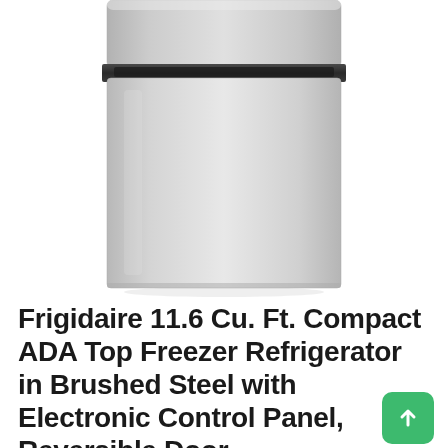[Figure (photo): Product photo of a Frigidaire stainless/brushed steel top-freezer compact refrigerator, shown from the front against a white background. The refrigerator has a smaller freezer compartment on top and a larger refrigerator section below, with a recessed handle.]
Frigidaire 11.6 Cu. Ft. Compact ADA Top Freezer Refrigerator in Brushed Steel with Electronic Control Panel, Reversible Door